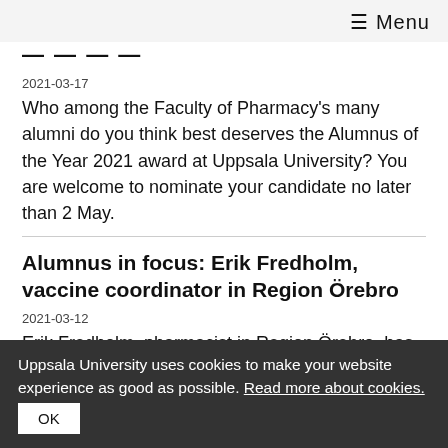≡ Menu
2021
2021-03-17
Who among the Faculty of Pharmacy's many alumni do you think best deserves the Alumnus of the Year 2021 award at Uppsala University? You are welcome to nominate your candidate no later than 2 May.
Alumnus in focus: Erik Fredholm, vaccine coordinator in Region Örebro
2021-03-12
Erik Fredholm, pharmacist in Region Örebro, has seen his working days change along the spread of the coronavirus.
Uppsala University uses cookies to make your website experience as good as possible. Read more about cookies.